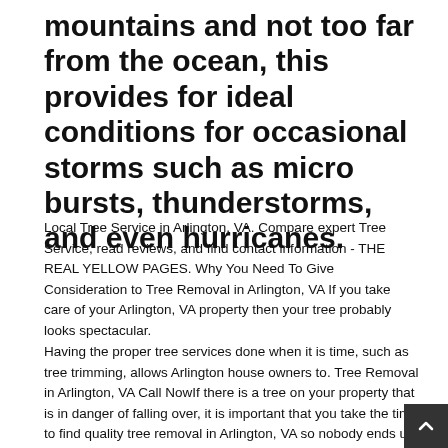mountains and not too far from the ocean, this provides for ideal conditions for occasional storms such as micro bursts, thunderstorms, and even hurricanes.
Local Tree Service in Arlington, VA. Compare expert Tree Service, read reviews, and find contact information - THE REAL YELLOW PAGES. Why You Need To Give Consideration to Tree Removal in Arlington, VA If you take care of your Arlington, VA property then your tree probably looks spectacular.
Having the proper tree services done when it is time, such as tree trimming, allows Arlington house owners to. Tree Removal in Arlington, VA Call NowIf there is a tree on your property that is in danger of falling over, it is important that you take the time to find quality tree removal in Arlington, VA so nobody ends up getting hurt.